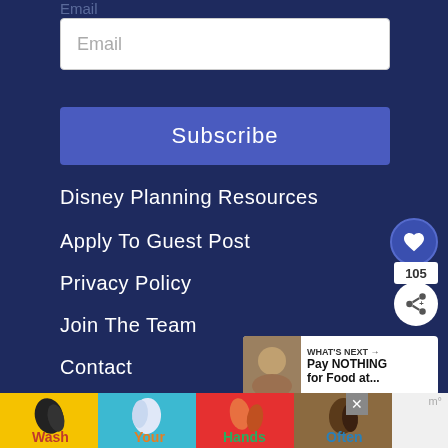Email
Email
Subscribe
Disney Planning Resources
Apply To Guest Post
Privacy Policy
Join The Team
Contact
About
[Figure (screenshot): Social share widget with heart icon (like button) and share count of 105]
[Figure (screenshot): What's Next widget showing a thumbnail and text 'Pay NOTHING for Food at...']
[Figure (illustration): Advertisement banner with handwashing icons in yellow, blue, red and brown panels with text Wash, Your, Hands, Often]